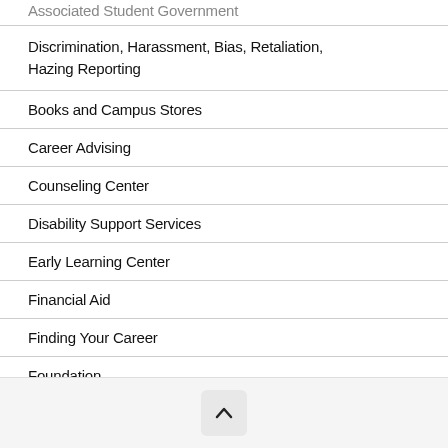Associated Student Government
Discrimination, Harassment, Bias, Retaliation, Hazing Reporting
Books and Campus Stores
Career Advising
Counseling Center
Disability Support Services
Early Learning Center
Financial Aid
Finding Your Career
Foundation
Library